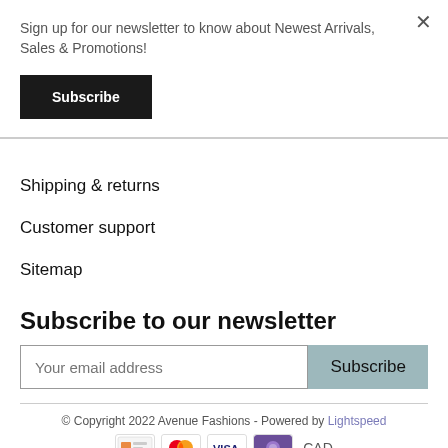Sign up for our newsletter to know about Newest Arrivals, Sales & Promotions!
Subscribe
Shipping & returns
Customer support
Sitemap
Subscribe to our newsletter
Your email address
Subscribe
© Copyright 2022 Avenue Fashions - Powered by Lightspeed
[Figure (other): Payment method icons: gift card, Mastercard, Visa, purple icon, and CAD currency label]